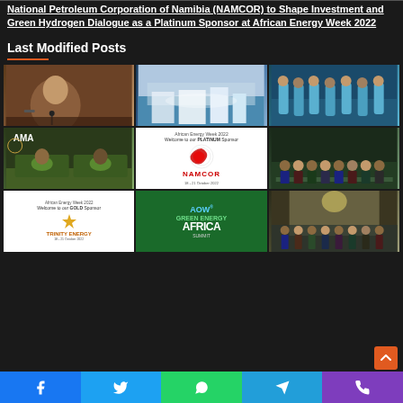National Petroleum Corporation of Namibia (NAMCOR) to Shape Investment and Green Hydrogen Dialogue as a Platinum Sponsor at African Energy Week 2022
Last Modified Posts
[Figure (photo): Woman speaking at a microphone at a conference]
[Figure (photo): Aerial view of a harbor with ships and city skyline]
[Figure (photo): Group of people in blue medical gowns and masks]
[Figure (photo): Two people seated on a stage at a conference with AMA branding]
[Figure (photo): NAMCOR Platinum Sponsor badge for African Energy Week 2022]
[Figure (photo): Group of officials in formal attire at an event]
[Figure (photo): African Energy Week Gold Sponsor badge]
[Figure (photo): AOW Green Energy Africa Summit promotional banner]
[Figure (photo): Group photo of people in formal attire in a building]
Facebook | Twitter | WhatsApp | Telegram | Phone